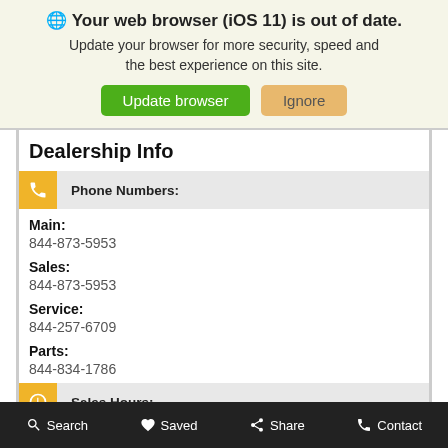🌐 Your web browser (iOS 11) is out of date. Update your browser for more security, speed and the best experience on this site.
Update browser | Ignore
Dealership Info
Phone Numbers:
Main:
844-873-5953
Sales:
844-873-5953
Service:
844-257-6709
Parts:
844-834-1786
Sales Hours:
Mon - Fri
10:00 AM - 8:00 PM
Search   Saved   Share   Contact